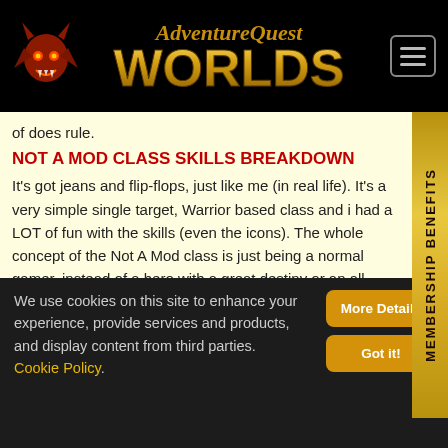AdventureQuest Worlds
of does rule.
NOT A MOD CLASS SKILLS BREAKDOWN
It's got jeans and flip-flops, just like me (in real life). It's a very simple single target, Warrior based class and i had a LOT of fun with the skills (even the icons). The whole concept of the Not A Mod class is just being a normal gamer, instead of a hero with a great destiny or an all-powerful game Mod.
[Figure (illustration): Partial illustration of a brown character with spiky hair visible at the bottom of the content area]
We use cookies on this site to enhance your experience, provide services and products, and display content from third parties. Cookie Policy.